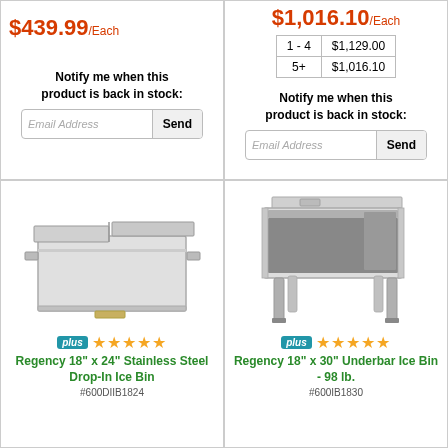$439.99/Each
Notify me when this product is back in stock:
$1,016.10/Each
| Qty | Price |
| --- | --- |
| 1 - 4 | $1,129.00 |
| 5+ | $1,016.10 |
Notify me when this product is back in stock:
[Figure (photo): Regency 18" x 24" Stainless Steel Drop-In Ice Bin product photo]
plus ★★★★★
Regency 18" x 24" Stainless Steel Drop-In Ice Bin
#600DIIB1824
[Figure (photo): Regency 18" x 30" Underbar Ice Bin - 98 lb. product photo]
plus ★★★★★
Regency 18" x 30" Underbar Ice Bin - 98 lb.
#600IB1830